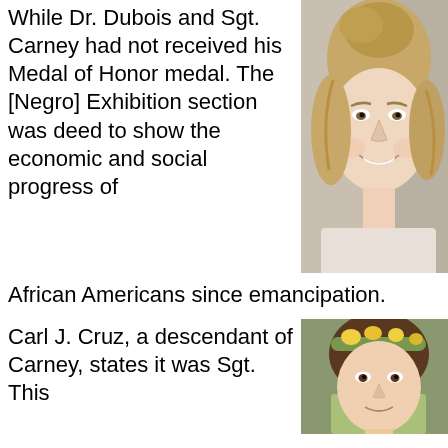While Dr. Dubois and Sgt. Carney had not received his Medal of Honor medal. The [Negro] Exhibition section was deed to show the economic and social progress of African Americans since emancipation.
[Figure (photo): Portrait photo of a smiling blonde woman with hair pulled back, photographed from the shoulders up against a light background with window/glass visible.]
Carl J. Cruz, a descendant of Carney, states it was Sgt. This
[Figure (photo): Partial portrait photo of a young woman with dark hair and a floral headband, photographed from the shoulders up, shown cropped at bottom of page.]